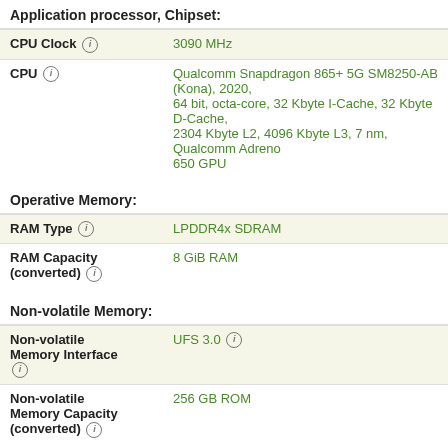Application processor, Chipset:
| Specification | Value |
| --- | --- |
| CPU Clock ⓘ | 3090 MHz |
| CPU ⓘ | Qualcomm Snapdragon 865+ 5G SM8250-AB (Kona), 2020, 64 bit, octa-core, 32 Kbyte I-Cache, 32 Kbyte D-Cache, 2304 Kbyte L2, 4096 Kbyte L3, 7 nm, Qualcomm Adreno 650 GPU |
Operative Memory:
| Specification | Value |
| --- | --- |
| RAM Type ⓘ | LPDDR4x SDRAM |
| RAM Capacity (converted) ⓘ | 8 GiB RAM |
Non-volatile Memory:
| Specification | Value |
| --- | --- |
| Non-volatile Memory Interface ⓘ | UFS 3.0 ⓘ |
| Non-volatile Memory Capacity (converted) ⓘ | 256 GB ROM |
Display ⓘ
| Specification | Value |
| --- | --- |
| Display Diagonal ⓘ | 315 mm |